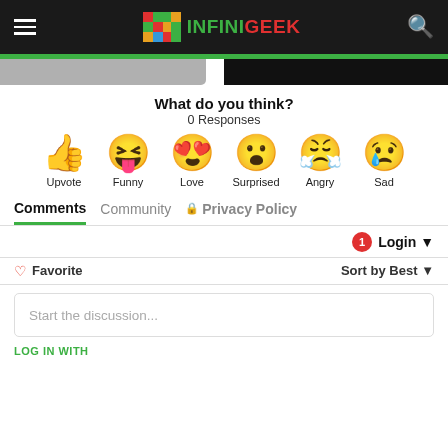INFINIGEEK
What do you think?
0 Responses
[Figure (infographic): Six emoji reaction buttons: Upvote (thumbs up), Funny (laughing face with tongue), Love (heart eyes face), Surprised (surprised face), Angry (angry crying face), Sad (sad face with tear)]
Comments | Community | Privacy Policy
1 Login ▾
♡ Favorite | Sort by Best ▾
Start the discussion...
LOG IN WITH